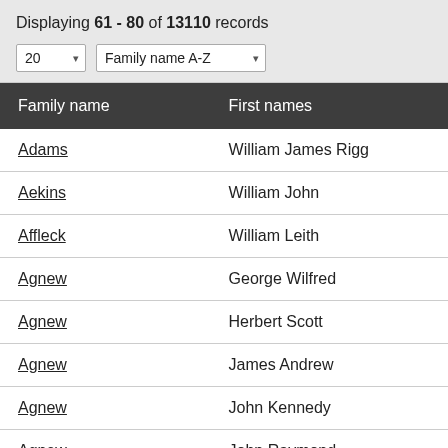Displaying 61 - 80 of 13110 records
| Family name | First names |
| --- | --- |
| Adams | William James Rigg |
| Aekins | William John |
| Affleck | William Leith |
| Agnew | George Wilfred |
| Agnew | Herbert Scott |
| Agnew | James Andrew |
| Agnew | John Kennedy |
| Agnew | John Raymond |
| Agar | Keith Trevor |